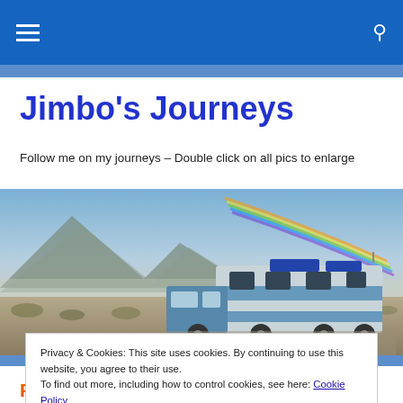Jimbo's Journeys – site navigation bar with hamburger menu and search icon
Jimbo's Journeys
Follow me on my journeys – Double click on all pics to enlarge
[Figure (photo): A blue and white RV/camper trailer parked in a desert landscape with mountains in the background and a rainbow in the sky.]
Privacy & Cookies: This site uses cookies. By continuing to use this website, you agree to their use.
To find out more, including how to control cookies, see here: Cookie Policy
Close and accept
Paradise Casino